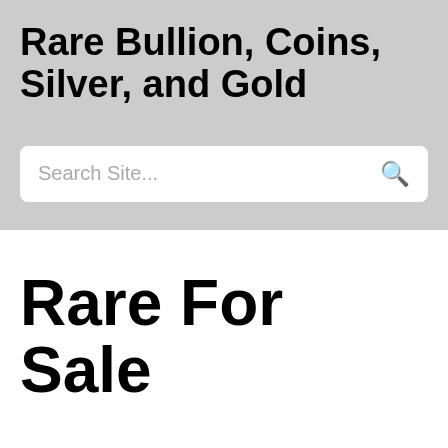Rare Bullion, Coins, Silver, and Gold
[Figure (other): Search site input box with placeholder text 'Search Site...' and a search icon on the right]
Rare For Sale